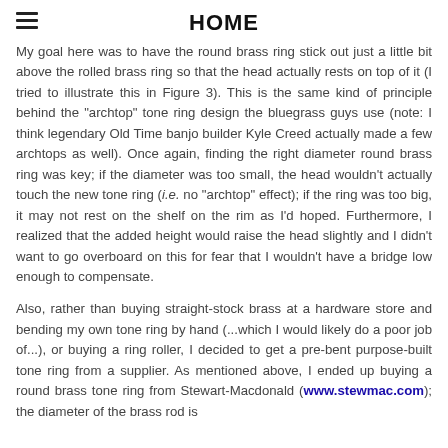HOME
My goal here was to have the round brass ring stick out just a little bit above the rolled brass ring so that the head actually rests on top of it (I tried to illustrate this in Figure 3). This is the same kind of principle behind the "archtop" tone ring design the bluegrass guys use (note: I think legendary Old Time banjo builder Kyle Creed actually made a few archtops as well). Once again, finding the right diameter round brass ring was key; if the diameter was too small, the head wouldn't actually touch the new tone ring (i.e. no "archtop" effect); if the ring was too big, it may not rest on the shelf on the rim as I'd hoped. Furthermore, I realized that the added height would raise the head slightly and I didn't want to go overboard on this for fear that I wouldn't have a bridge low enough to compensate.
Also, rather than buying straight-stock brass at a hardware store and bending my own tone ring by hand (...which I would likely do a poor job of...), or buying a ring roller, I decided to get a pre-bent purpose-built tone ring from a supplier. As mentioned above, I ended up buying a round brass tone ring from Stewart-Macdonald (www.stewmac.com); the diameter of the brass rod is